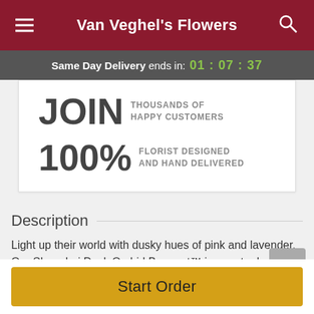Van Veghel's Flowers
Same Day Delivery ends in: 01 : 07 : 37
JOIN THOUSANDS OF HAPPY CUSTOMERS
100% FLORIST DESIGNED AND HAND DELIVERED
Description
Light up their world with dusky hues of pink and lavender. Our Shanghai Dusk Orchid Bouquet™ is sure to dazzle
Start Order